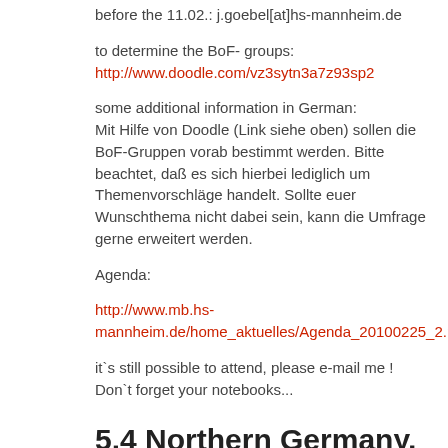before the 11.02.: j.goebel[at]hs-mannheim.de
to determine the BoF- groups:
http://www.doodle.com/vz3sytn3a7z93sp2
some additional information in German:
Mit Hilfe von Doodle (Link siehe oben) sollen die BoF-Gruppen vorab bestimmt werden. Bitte beachtet, daß es sich hierbei lediglich um Themenvorschläge handelt. Sollte euer Wunschthema nicht dabei sein, kann die Umfrage gerne erweitert werden.
Agenda:
http://www.mb.hs-mannheim.de/home_aktuelles/Agenda_20100225_2.pdf
it`s still possible to attend, please e-mail me !
Don`t forget your notebooks...
5.4 Northern Germany, Rostock, 11.03.2010
The OF users of Rostock would like to announce the next